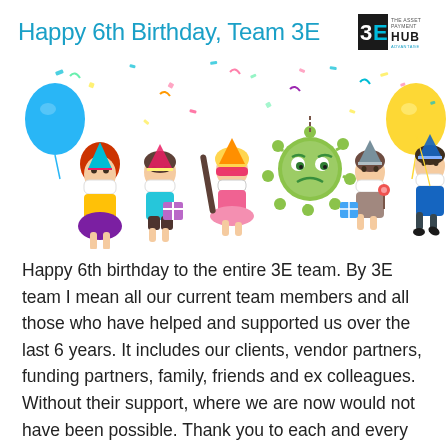Happy 6th Birthday, Team 3E
[Figure (illustration): Birthday party illustration with cartoon children wearing face masks, holding gifts and balloons, with a cartoon coronavirus character in the middle, surrounded by confetti. A blue balloon is on the left and a yellow balloon is on the right. Children wear party hats.]
Happy 6th birthday to the entire 3E team. By 3E team I mean all our current team members and all those who have helped and supported us over the last 6 years. It includes our clients, vendor partners, funding partners, family, friends and ex colleagues. Without their support, where we are now would not have been possible. Thank you to each and every